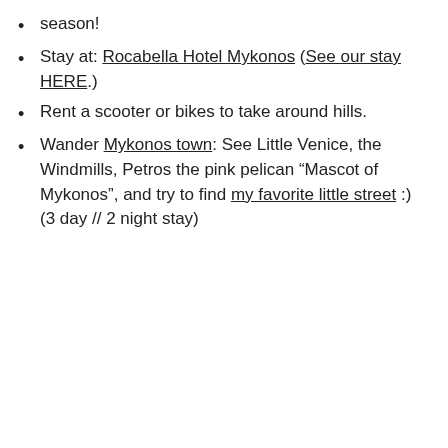season!
Stay at: Rocabella Hotel Mykonos (See our stay HERE.)
Rent a scooter or bikes to take around hills.
Wander Mykonos town: See Little Venice, the Windmills, Petros the pink pelican “Mascot of Mykonos”, and try to find my favorite little street :)
(3 day // 2 night stay)